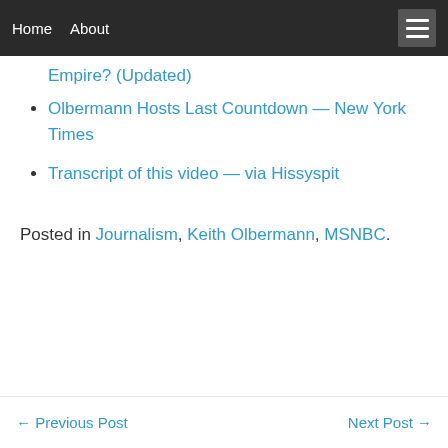Home   About
Empire? (Updated)
Olbermann Hosts Last Countdown — New York Times
Transcript of this video — via Hissyspit
Posted in Journalism, Keith Olbermann, MSNBC.
← Previous Post   Next Post →